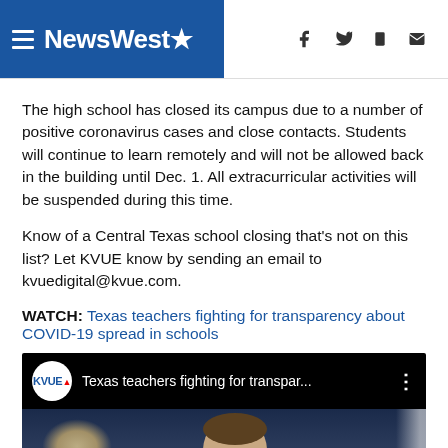NewsWest9
The high school has closed its campus due to a number of positive coronavirus cases and close contacts. Students will continue to learn remotely and will not be allowed back in the building until Dec. 1. All extracurricular activities will be suspended during this time.
Know of a Central Texas school closing that's not on this list? Let KVUE know by sending an email to kvuedigital@kvue.com.
WATCH: Texas teachers fighting for transparency about COVID-19 spread in schools
[Figure (screenshot): YouTube video thumbnail showing KVUE logo and title 'Texas teachers fighting for transpar...' with a man visible in a dark blue-lit setting]